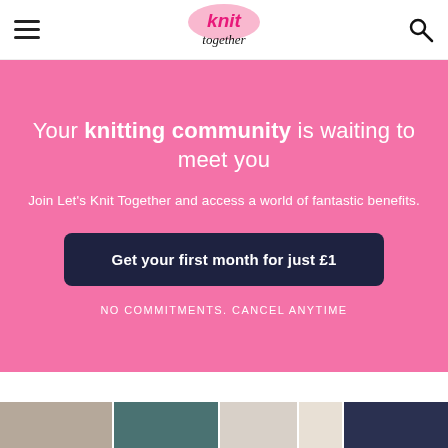Let's Knit Together — navigation header with hamburger menu, logo, and search icon
Your knitting community is waiting to meet you
Join Let's Knit Together and access a world of fantastic benefits.
Get your first month for just £1
NO COMMITMENTS. CANCEL ANYTIME
[Figure (photo): Bottom strip of knitting-related thumbnail photos]